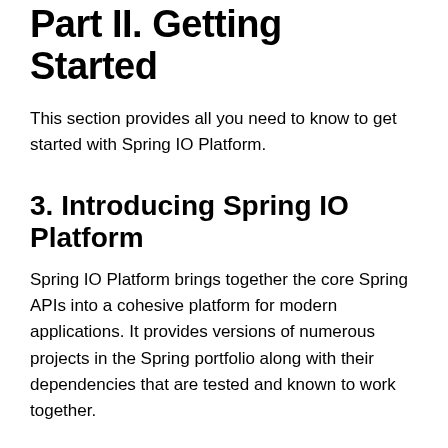Part II. Getting Started
This section provides all you need to know to get started with Spring IO Platform.
3. Introducing Spring IO Platform
Spring IO Platform brings together the core Spring APIs into a cohesive platform for modern applications. It provides versions of numerous projects in the Spring portfolio along with their dependencies that are tested and known to work together.
4. Using Spring IO Platform
Spring IO Platform is primarily intended to be used with a dependency management system. It works well